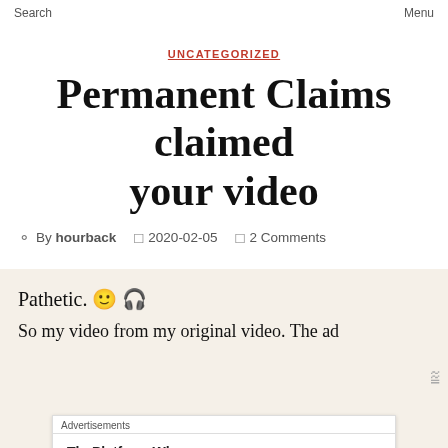Search   Menu
UNCATEGORIZED
Permanent Claims claimed your video
By hourback   2020-02-05   2 Comments
Pathetic. 🙂 🎧
[truncated line]
Advertisements
ThePlatform Where WordPress Works Best   Pressable